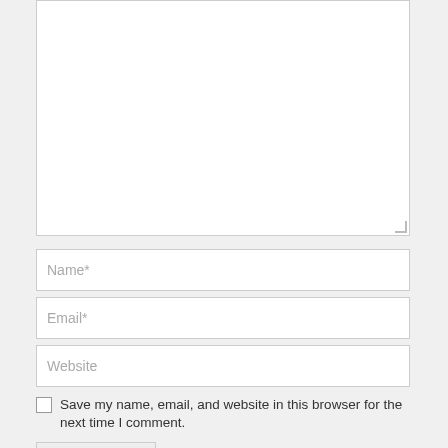[Figure (screenshot): Comment form textarea (large empty text input box with resize handle)]
Name*
Email*
Website
Save my name, email, and website in this browser for the next time I comment.
Post Comment
Archives
August 2022
July 2022
June 2022
May 2022
April 2022